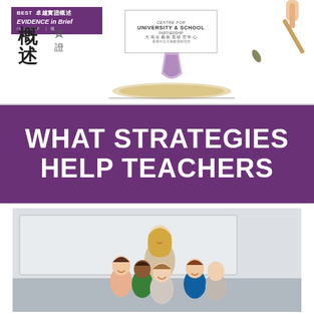[Figure (logo): Header banner with BEST Evidence in Brief purple badge, Chinese characters 概述, University & School Partnership logo, and a paintbrush illustration]
WHAT STRATEGIES HELP TEACHERS
[Figure (photo): A female teacher smiling with a diverse group of children standing in front of a whiteboard in a classroom]